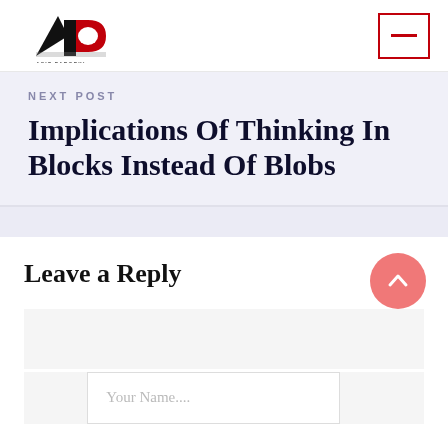[Figure (logo): Asif Paroeki logo — black and red stylized 'AP' mark with text 'ASIF PAROEKI' below]
NEXT POST
Implications Of Thinking In Blocks Instead Of Blobs
Leave a Reply
Your Name....